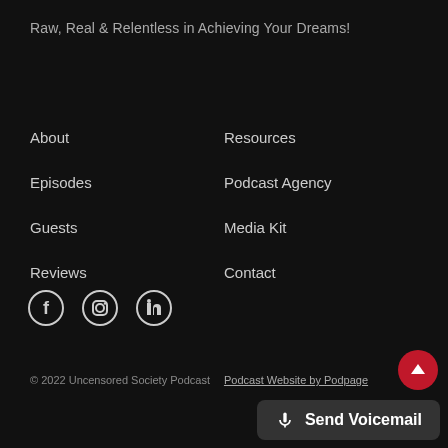Raw, Real & Relentless in Achieving Your Dreams!
About
Episodes
Guests
Reviews
Resources
Podcast Agency
Media Kit
Contact
[Figure (illustration): Social media icons: Facebook, Instagram, LinkedIn]
© 2022 Uncensored Society Podcast   Podcast Website by Podpage
Send Voicemail